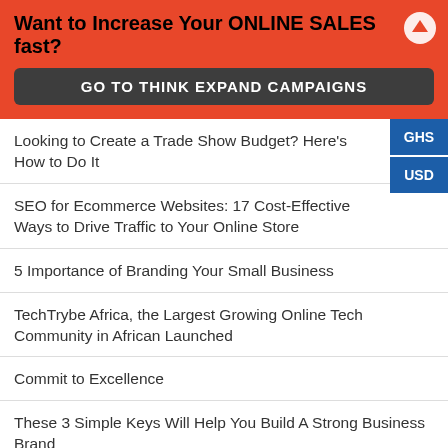Want to Increase Your ONLINE SALES fast?
GO TO THINK EXPAND CAMPAIGNS
Looking to Create a Trade Show Budget? Here's How to Do It
SEO for Ecommerce Websites: 17 Cost-Effective Ways to Drive Traffic to Your Online Store
5 Importance of Branding Your Small Business
TechTrybe Africa, the Largest Growing Online Tech Community in African Launched
Commit to Excellence
These 3 Simple Keys Will Help You Build A Strong Business Brand
for Startups: 5 Powerful Business Success Tips for Entrepreneurs
Need Help? Let's Chat
GHS
USD